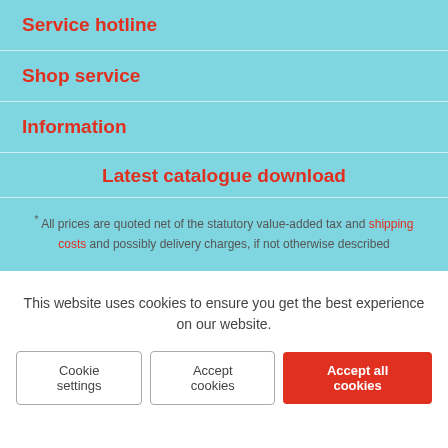Service hotline
Shop service
Information
Latest catalogue download
* All prices are quoted net of the statutory value-added tax and shipping costs and possibly delivery charges, if not otherwise described
This website uses cookies to ensure you get the best experience on our website.
Cookie settings | Accept cookies | Accept all cookies